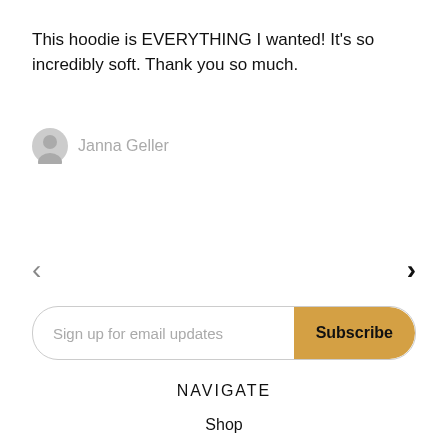This hoodie is EVERYTHING I wanted! It's so incredibly soft. Thank you so much.
Janna Geller
< >
Sign up for email updates
Subscribe
NAVIGATE
Shop